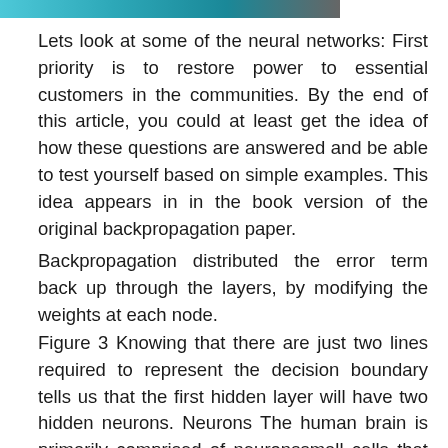[Figure (photo): Partial image strip visible at the top of the page, showing what appears to be a colorful photograph cropped at the top edge.]
Lets look at some of the neural networks: First priority is to restore power to essential customers in the communities. By the end of this article, you could at least get the idea of how these questions are answered and be able to test yourself based on simple examples. This idea appears in in the book version of the original backpropagation paper.
Backpropagation distributed the error term back up through the layers, by modifying the weights at each node.
Figure 3 Knowing that there are just two lines required to represent the decision boundary tells us that the first hidden layer will have two hidden neurons. Neurons The human brain is primarily comprised of neuronssmall cells that learn to fire electrical and chemical signals based on